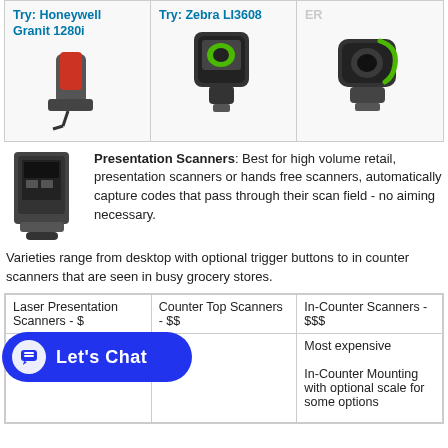[Figure (photo): Honeywell Granit 1280i barcode scanner]
Try: Honeywell Granit 1280i
[Figure (photo): Zebra LI3608 barcode scanner]
Try: Zebra LI3608
[Figure (photo): Third barcode scanner with green trim]
Presentation Scanners: Best for high volume retail, presentation scanners or hands free scanners, automatically capture codes that pass through their scan field - no aiming necessary. Varieties range from desktop with optional trigger buttons to in counter scanners that are seen in busy grocery stores.
| Laser Presentation Scanners - $ | Counter Top Scanners - $$ | In-Counter Scanners - $$$ |
| --- | --- | --- |
|  | Most expensive

In-Counter Mounting with optional scale for some options |
[Figure (other): Let's Chat button / chat widget overlay]